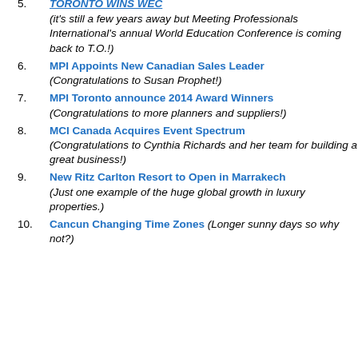TORONTO WINS WEC (it's still a few years away but Meeting Professionals International's annual World Education Conference is coming back to T.O.!)
MPI Appoints New Canadian Sales Leader (Congratulations to Susan Prophet!)
MPI Toronto announce 2014 Award Winners (Congratulations to more planners and suppliers!)
MCI Canada Acquires Event Spectrum (Congratulations to Cynthia Richards and her team for building a great business!)
New Ritz Carlton Resort to Open in Marrakech (Just one example of the huge global growth in luxury properties.)
Cancun Changing Time Zones (Longer sunny days so why not?)